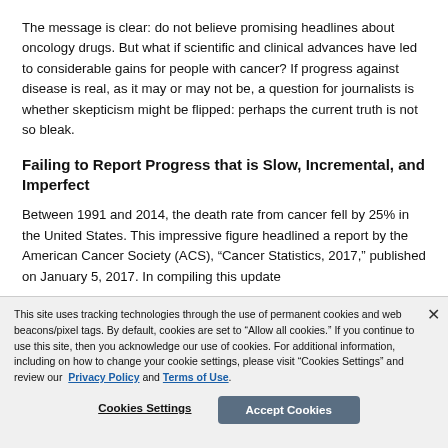The message is clear: do not believe promising headlines about oncology drugs. But what if scientific and clinical advances have led to considerable gains for people with cancer? If progress against disease is real, as it may or may not be, a question for journalists is whether skepticism might be flipped: perhaps the current truth is not so bleak.
Failing to Report Progress that is Slow, Incremental, and Imperfect
Between 1991 and 2014, the death rate from cancer fell by 25% in the United States. This impressive figure headlined a report by the American Cancer Society (ACS), "Cancer Statistics, 2017," published on January 5, 2017. In compiling this update
This site uses tracking technologies through the use of permanent cookies and web beacons/pixel tags. By default, cookies are set to “Allow all cookies.” If you continue to use this site, then you acknowledge our use of cookies. For additional information, including on how to change your cookie settings, please visit “Cookies Settings” and review our Privacy Policy and Terms of Use.
Cookies Settings
Accept Cookies